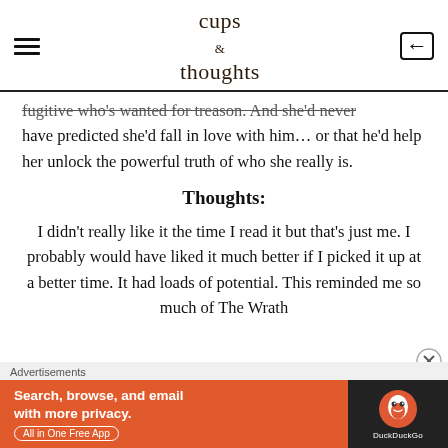cups of thoughts
fugitive who's wanted for treason. And she'd never have predicted she'd fall in love with him… or that he'd help her unlock the powerful truth of who she really is.
Thoughts:
I didn't really like it the time I read it but that's just me. I probably would have liked it much better if I picked it up at a better time. It had loads of potential. This reminded me so much of The Wrath
Advertisements
[Figure (screenshot): DuckDuckGo advertisement banner: orange background with text 'Search, browse, and email with more privacy. All in One Free App' and DuckDuckGo logo on dark background]